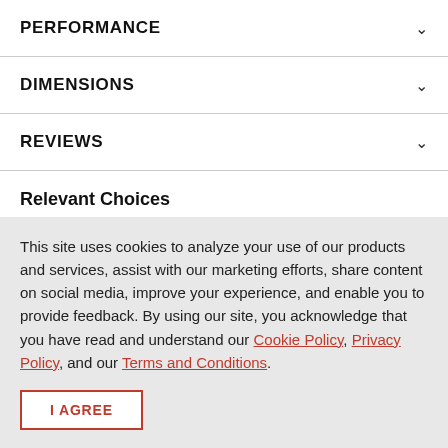PERFORMANCE
DIMENSIONS
REVIEWS
Relevant Choices
This site uses cookies to analyze your use of our products and services, assist with our marketing efforts, share content on social media, improve your experience, and enable you to provide feedback. By using our site, you acknowledge that you have read and understand our Cookie Policy, Privacy Policy, and our Terms and Conditions.
I AGREE